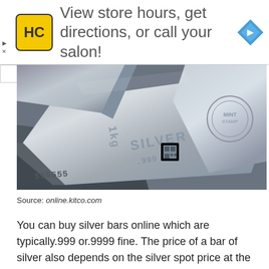[Figure (advertisement): Ad banner with HC logo (yellow square with black HC letters), text 'View store hours, get directions, or call your salon!', and a blue navigation diamond icon on the right.]
[Figure (photo): Close-up photograph of silver bars/bullion with embossed text showing 'SILVER' and serial numbers '555555', with a circular mint stamp visible.]
Source: online.kitco.com
You can buy silver bars online which are typically.999 or.9999 fine. The price of a bar of silver also depends on the silver spot price at the time of purchase.